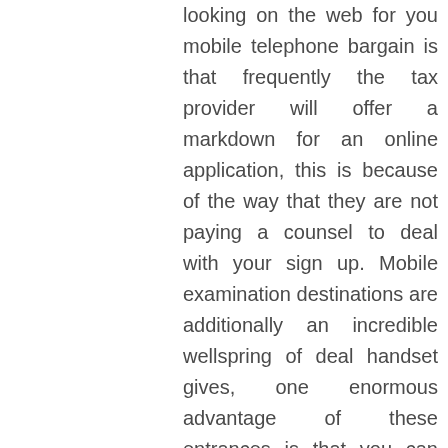looking on the web for you mobile telephone bargain is that frequently the tax provider will offer a markdown for an online application, this is because of the way that they are not paying a counsel to deal with your sign up. Mobile examination destinations are additionally an incredible wellspring of deal handset gives, one enormous advantage of these entrances is that you can regularly discover organizations offering a similar handset just one will include an unconditional present. Another extraordinary tip for making sure about the best mobile telephone contract is the make a note of all best sites you visit, how frequently you have fished the web for items just to overlook where you saw